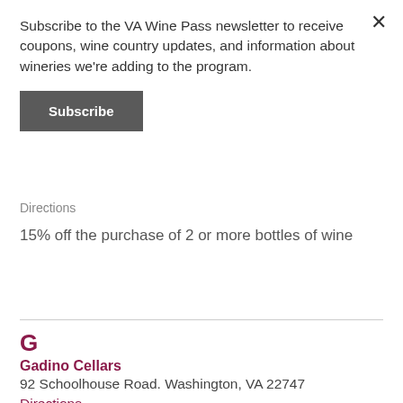Subscribe to the VA Wine Pass newsletter to receive coupons, wine country updates, and information about wineries we're adding to the program.
Subscribe
Directions
15% off the purchase of 2 or more bottles of wine
G
Gadino Cellars
92 Schoolhouse Road. Washington, VA 22747
Directions